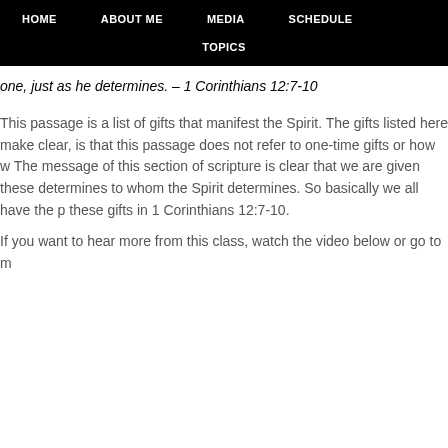HOME   ABOUT ME   MEDIA   SCHEDULE   TOPICS
one, just as he determines. – 1 Corinthians 12:7-10
This passage is a list of gifts that manifest the Spirit. The gifts listed here make clear, is that this passage does not refer to one-time gifts or how w The message of this section of scripture is clear that we are given these determines to whom the Spirit determines. So basically we all have the p these gifts in 1 Corinthians 12:7-10.
If you want to hear more from this class, watch the video below or go to m